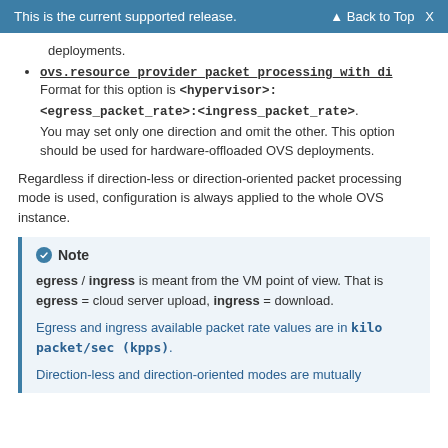This is the current supported release.  Back to Top X
deployments.
ovs.resource_provider_packet_processing_with_di Format for this option is <hypervisor>: <egress_packet_rate>:<ingress_packet_rate>. You may set only one direction and omit the other. This option should be used for hardware-offloaded OVS deployments.
Regardless if direction-less or direction-oriented packet processing mode is used, configuration is always applied to the whole OVS instance.
Note
egress / ingress is meant from the VM point of view. That is egress = cloud server upload, ingress = download.
Egress and ingress available packet rate values are in kilo packet/sec (kpps).
Direction-less and direction-oriented modes are mutually